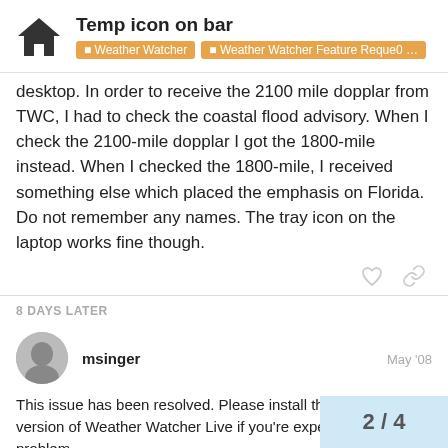Temp icon on bar — Weather Watcher > Weather Watcher Feature Reque0 …
desktop. In order to receive the 2100 mile dopplar from TWC, I had to check the coastal flood advisory. When I check the 2100-mile dopplar I got the 1800-mile instead. When I checked the 1800-mile, I received something else which placed the emphasis on Florida. Do not remember any names. The tray icon on the laptop works fine though.
8 DAYS LATER
msinger — May '08
This issue has been resolved. Please install the current version of Weather Watcher Live if you're experiencing this problem.
http://www.SingersCreations.com/Weat
Live.asp
2 / 4